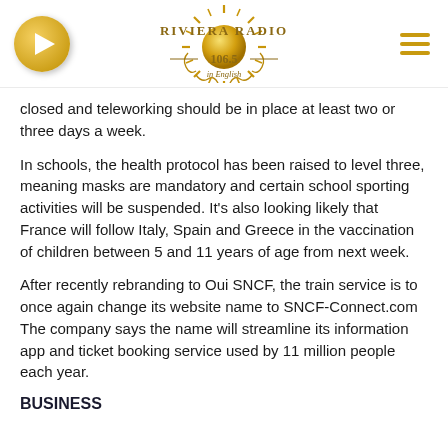Riviera Radio 106.5 in English
closed and teleworking should be in place at least two or three days a week.
In schools, the health protocol has been raised to level three, meaning masks are mandatory and certain school sporting activities will be suspended. It's also looking likely that France will follow Italy, Spain and Greece in the vaccination of children between 5 and 11 years of age from next week.
After recently rebranding to Oui SNCF, the train service is to once again change its website name to SNCF-Connect.com The company says the name will streamline its information app and ticket booking service used by 11 million people each year.
BUSINESS